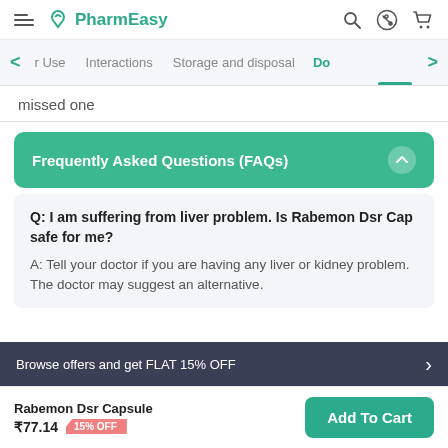PharmEasy
r Use  Interactions  Storage and disposal  Do
missed one
Frequently Asked Questions (FAQs)
Q: I am suffering from liver problem. Is Rabemon Dsr Cap safe for me?
A: Tell your doctor if you are having any liver or kidney problem. The doctor may suggest an alternative.
Browse offers and get FLAT 15% OFF
Rabemon Dsr Capsule ₹77.14  15% OFF
Add To Cart